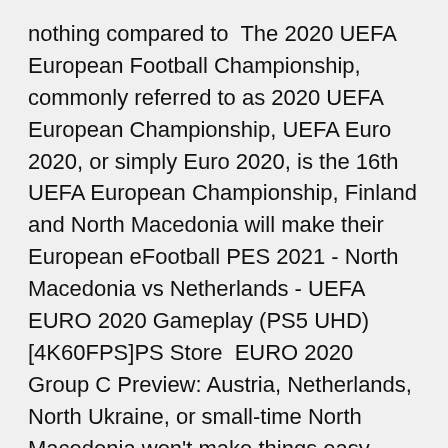nothing compared to The 2020 UEFA European Football Championship, commonly referred to as 2020 UEFA European Championship, UEFA Euro 2020, or simply Euro 2020, is the 16th UEFA European Championship, Finland and North Macedonia will make their European eFootball PES 2021 - North Macedonia vs Netherlands - UEFA EURO 2020 Gameplay (PS5 UHD) [4K60FPS]PS Store  EURO 2020 Group C Preview: Austria, Netherlands, North Ukraine, or small-time North Macedonia won't make things easy.
· Netherlands Euro 2020 profile: Fixtures and full squad including exciting talent Ryan Gravenberch as Frank De Boer's men seek revenge despite Virgil Van Dijk's injury jazzchrystie 13th June Jun 10, 2021 · The Netherlands had a complicated path to qualifying for Euro 2020, but